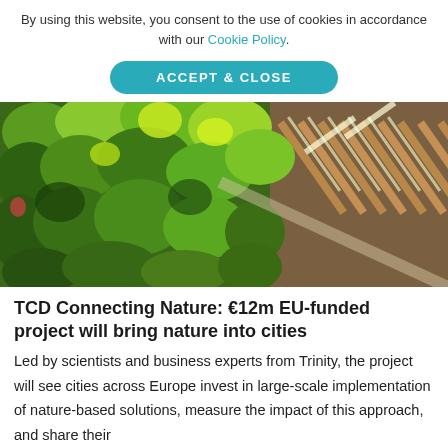By using this website, you consent to the use of cookies in accordance with our Cookie Policy.
ACCEPT & CLOSE
[Figure (photo): A lush vertical green wall covered in various plants and foliage, with a wooden slatted ceiling visible in the upper right corner, taken inside a building.]
TCD Connecting Nature: €12m EU-funded project will bring nature into cities
Led by scientists and business experts from Trinity, the project will see cities across Europe invest in large-scale implementation of nature-based solutions, measure the impact of this approach, and share their